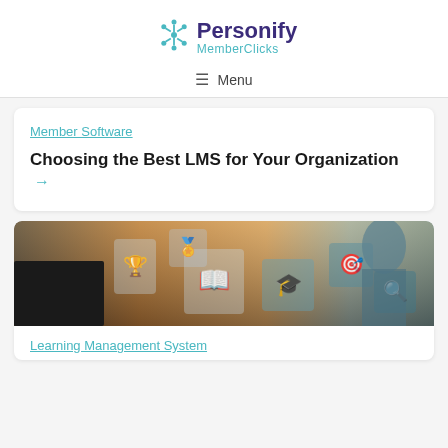[Figure (logo): Personify MemberClicks logo with blue snowflake-like icon and purple/teal text]
≡ Menu
Member Software
Choosing the Best LMS for Your Organization →
[Figure (photo): Person working at laptop with floating digital education icons including trophy, book, graduation cap, target, and magnifying glass overlaid on a warm-toned office background]
Learning Management System